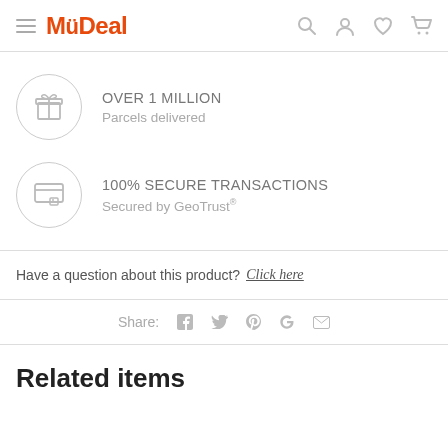MyDeal
OVER 1 MILLION
Parcels delivered
100% SECURE TRANSACTIONS
Secured by GeoTrust®
Have a question about this product? Click here
Share:
Related items